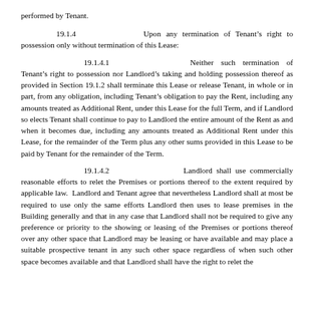performed by Tenant.
19.1.4    Upon any termination of Tenant’s right to possession only without termination of this Lease:
19.1.4.1    Neither such termination of Tenant’s right to possession nor Landlord’s taking and holding possession thereof as provided in Section 19.1.2 shall terminate this Lease or release Tenant, in whole or in part, from any obligation, including Tenant’s obligation to pay the Rent, including any amounts treated as Additional Rent, under this Lease for the full Term, and if Landlord so elects Tenant shall continue to pay to Landlord the entire amount of the Rent as and when it becomes due, including any amounts treated as Additional Rent under this Lease, for the remainder of the Term plus any other sums provided in this Lease to be paid by Tenant for the remainder of the Term.
19.1.4.2    Landlord shall use commercially reasonable efforts to relet the Premises or portions thereof to the extent required by applicable law. Landlord and Tenant agree that nevertheless Landlord shall at most be required to use only the same efforts Landlord then uses to lease premises in the Building generally and that in any case that Landlord shall not be required to give any preference or priority to the showing or leasing of the Premises or portions thereof over any other space that Landlord may be leasing or have available and may place a suitable prospective tenant in any such other space regardless of when such other space becomes available and that Landlord shall have the right to relet the